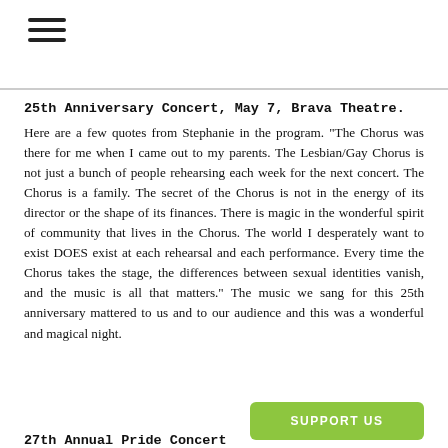[Figure (other): Hamburger menu icon with three horizontal lines]
25th Anniversary Concert, May 7, Brava Theatre.
Here are a few quotes from Stephanie in the program. "The Chorus was there for me when I came out to my parents. The Lesbian/Gay Chorus is not just a bunch of people rehearsing each week for the next concert. The Chorus is a family. The secret of the Chorus is not in the energy of its director or the shape of its finances. There is magic in the wonderful spirit of community that lives in the Chorus. The world I desperately want to exist DOES exist at each rehearsal and each performance. Every time the Chorus takes the stage, the differences between sexual identities vanish, and the music is all that matters." The music we sang for this 25th anniversary mattered to us and to our audience and this was a wonderful and magical night.
27th Annual Pride Concert